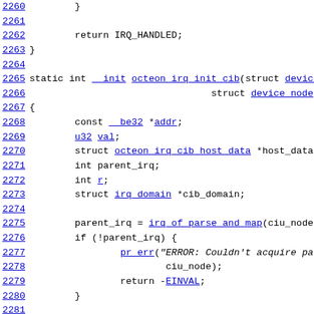Source code listing lines 2260-2284, C kernel code for octeon IRQ CIB initialization
2260    }
2261
2262        return IRQ_HANDLED;
2263 }
2264
2265 static int __init octeon_irq_init_cib(struct device_node *ci
2266                                        struct device_node *parent)
2267 {
2268        const __be32 *addr;
2269        u32 val;
2270        struct octeon_irq_cib_host_data *host_data;
2271        int parent_irq;
2272        int r;
2273        struct irq_domain *cib_domain;
2274
2275        parent_irq = irq_of_parse_and_map(ciu_node, 0);
2276        if (!parent_irq) {
2277                pr_err("ERROR: Couldn't acquire parent_irq fo
2278                        ciu_node);
2279                return -EINVAL;
2280        }
2281
2282        host_data = kzalloc(sizeof(*host_data), GFP_KERN
2283        if (!host_data)
2284                return -ENOMEM;